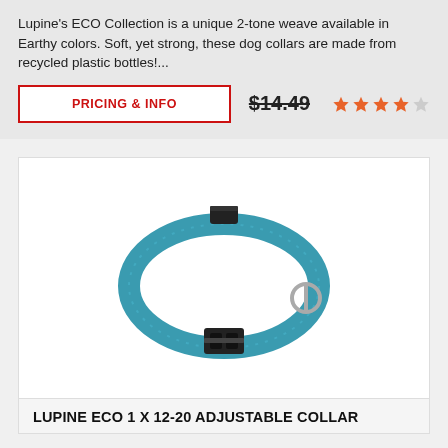Lupine's ECO Collection is a unique 2-tone weave available in Earthy colors. Soft, yet strong, these dog collars are made from recycled plastic bottles!...
PRICING & INFO  $14.49  ★★★★☆
[Figure (photo): A teal/blue adjustable dog collar with black plastic buckle and silver D-ring, shown on white background.]
LUPINE ECO 1 X 12-20 ADJUSTABLE COLLAR